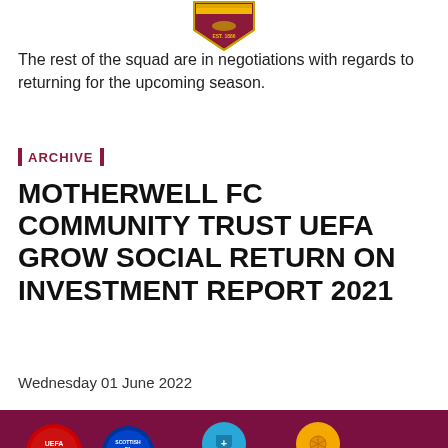[Figure (logo): Motherwell FC crest / shield logo with amber and maroon colors, EST. 1886]
The rest of the squad are in negotiations with regards to returning for the upcoming season.
ARCHIVE
MOTHERWELL FC COMMUNITY TRUST UEFA GROW SOCIAL RETURN ON INVESTMENT REPORT 2021
Wednesday 01 June 2022
[Figure (photo): Dark maroon banner image showing UEFA logo (red circle), Scottish FA badge, a blue shield icon, and an orange soccer ball icon on a dark maroon/burgundy background.]